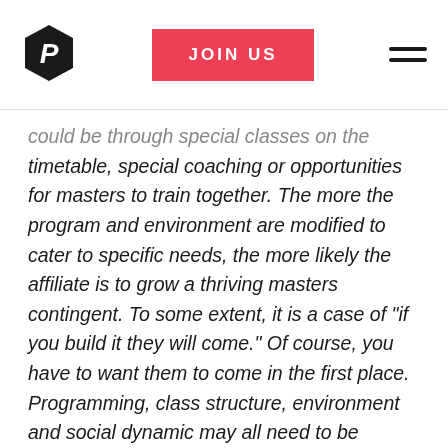[Figure (logo): Black pentagon/shield shaped logo with letter P inside, top left of header]
JOIN US
[Figure (other): Hamburger menu icon with three horizontal lines, top right of header]
could be through special classes on the timetable, special coaching or opportunities for masters to train together. The more the program and environment are modified to cater to specific needs, the more likely the affiliate is to grow a thriving masters contingent. To some extent, it is a case of “if you build it they will come.” Of course, you have to want them to come in the first place. Programming, class structure, environment and social dynamic may all need to be adjusted to build an environment that successfully supports the masters athlete.